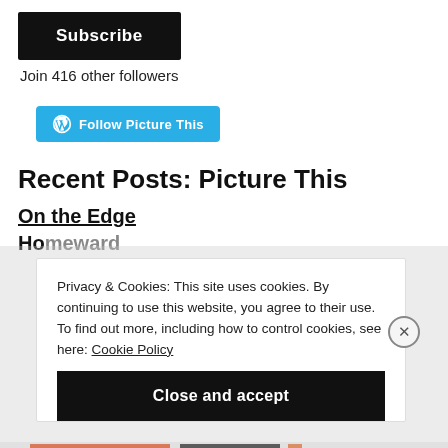Subscribe
Join 416 other followers
Follow Picture This
Recent Posts: Picture This
On the Edge
Homeward
Privacy & Cookies: This site uses cookies. By continuing to use this website, you agree to their use. To find out more, including how to control cookies, see here: Cookie Policy
Close and accept